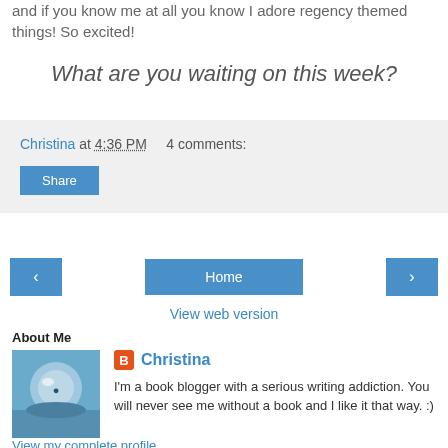and if you know me at all you know I adore regency themed things! So excited!
What are you waiting on this week?
Christina at 4:36 PM   4 comments:
Share
Home
View web version
About Me
[Figure (photo): Profile photo of Christina - person in reflective helmet outdoors]
Christina
I'm a book blogger with a serious writing addiction. You will never see me without a book and I like it that way. :)
View my complete profile